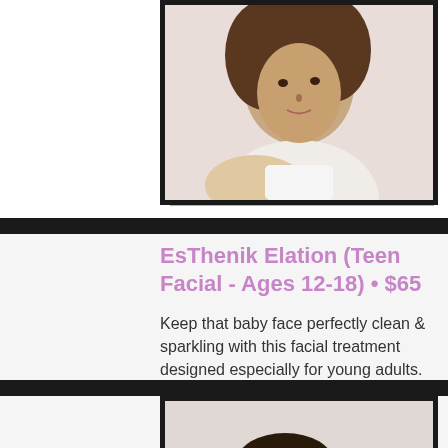[Figure (photo): Young woman with curly hair looking over her shoulder, spa/beauty context]
EsThenik Elation (Teen Facial - Ages 12-18) • $65
Keep that baby face perfectly clean & sparkling with this facial treatment designed especially for young adults.
[Figure (photo): Man receiving a facial treatment, hands applying cream to his face]
EsThenik Exemption...